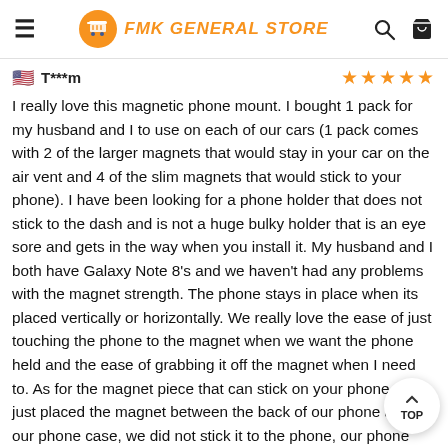FMK GENERAL STORE
T***m ★★★★★
I really love this magnetic phone mount. I bought 1 pack for my husband and I to use on each of our cars (1 pack comes with 2 of the larger magnets that would stay in your car on the air vent and 4 of the slim magnets that would stick to your phone). I have been looking for a phone holder that does not stick to the dash and is not a huge bulky holder that is an eye sore and gets in the way when you install it. My husband and I both have Galaxy Note 8's and we haven't had any problems with the magnet strength. The phone stays in place when its placed vertically or horizontally. We really love the ease of just touching the phone to the magnet when we want the phone held and the ease of grabbing it off the magnet when I need to. As for the magnet piece that can stick on your phone, we just placed the magnet between the back of our phone and our phone case, we did not stick it to the phone, our phone case enough that the magnet stays put and doesn't move at all perfectly.